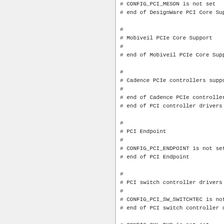# CONFIG_PCIE_SW_PLAT_HOST is not set
# CONFIG_PCI_MESON is not set
# end of DesignWare PCI Core Support

#
# Mobiveil PCIe Core Support
#
# end of Mobiveil PCIe Core Support

#
# Cadence PCIe controllers support
#
# end of Cadence PCIe controllers support
# end of PCI controller drivers

#
# PCI Endpoint
#
# CONFIG_PCI_ENDPOINT is not set
# end of PCI Endpoint

#
# PCI switch controller drivers
#
# CONFIG_PCI_SW_SWITCHTEC is not set
# end of PCI switch controller drivers

# CONFIG_CXL_BUS is not set
CONFIG_PCCARD=m
CONFIG_PCMCIA=m
CONFIG_PCMCIA_LOAD_CIS=y
CONFIG_CARDBUS=y